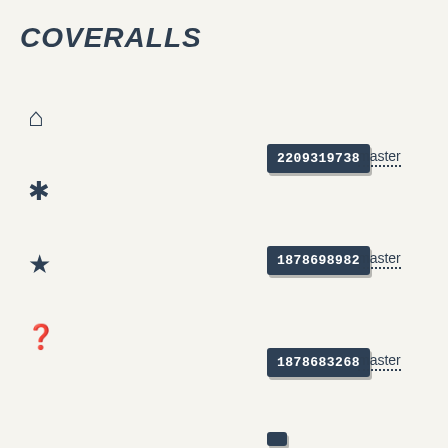COVERALLS
[Figure (screenshot): Navigation sidebar with icons: home, asterisk/snowflake, star, question mark, sign-in arrow]
2209319738
master
1878698982
master
1878683268
master